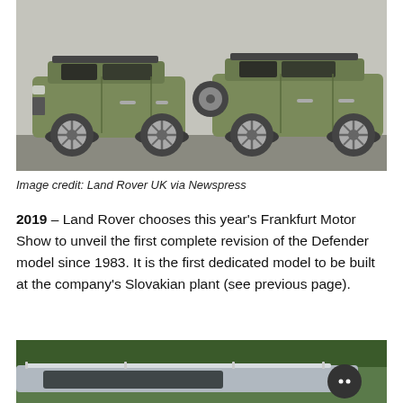[Figure (photo): Two Land Rover Defender SUVs side by side in olive/green colour against a grey concrete wall. Left vehicle is shorter (90), right is longer (110). Both shown in profile view on a textured ground surface.]
Image credit: Land Rover UK via Newspress
2019 – Land Rover chooses this year's Frankfurt Motor Show to unveil the first complete revision of the Defender model since 1983. It is the first dedicated model to be built at the company's Slovakian plant (see previous page).
[Figure (photo): Partial view of a silver/grey Land Rover Defender driving through green forested area. Roof rails visible. Bottom portion of image cropped.]